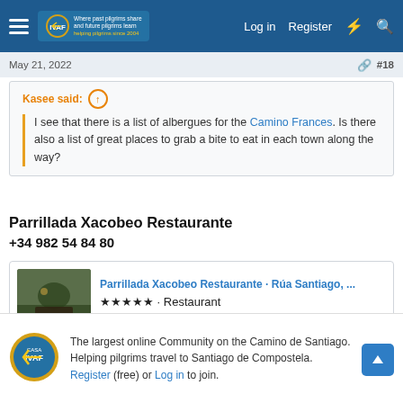Navigation bar: hamburger menu, IVAF logo, Log in, Register, icons
May 21, 2022   #18
Kasee said: ↑
I see that there is a list of albergues for the Camino Frances. Is there also a list of great places to grab a bite to eat in each town along the way?
Parrillada Xacobeo Restaurante
+34 982 54 84 80
[Figure (screenshot): Google Maps card for Parrillada Xacobeo Restaurante showing restaurant image thumbnail, 5-star rating, and maps.app.goo.gl link]
↩ Reply
The largest online Community on the Camino de Santiago. Helping pilgrims travel to Santiago de Compostela. Register (free) or Log in to join.